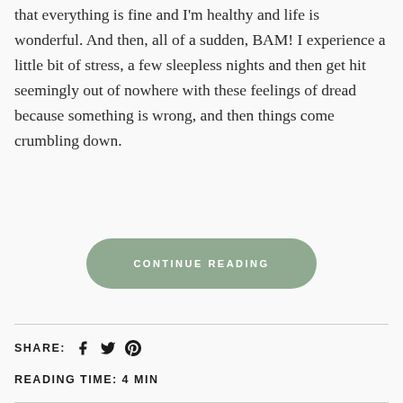that everything is fine and I'm healthy and life is wonderful. And then, all of a sudden, BAM! I experience a little bit of stress, a few sleepless nights and then get hit seemingly out of nowhere with these feelings of dread because something is wrong, and then things come crumbling down.
CONTINUE READING
SHARE:
READING TIME: 4 MIN